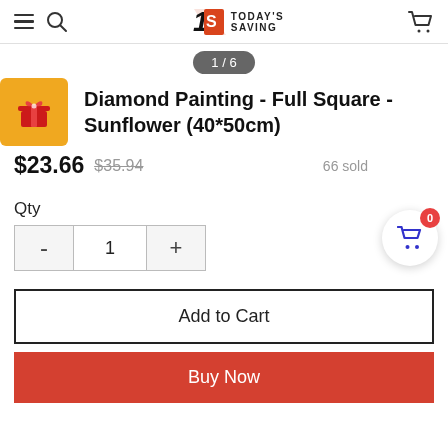[Figure (screenshot): E-commerce website header with hamburger menu, search icon, Today's Saving logo, and cart icon]
1 / 6
Diamond Painting - Full Square - Sunflower (40*50cm)
$23.66  $35.94  66 sold
Qty
- 1 +
Add to Cart
Buy Now